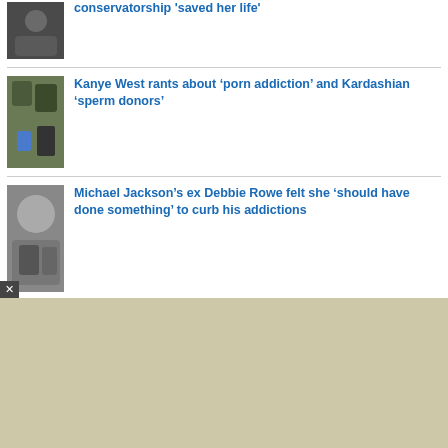[Figure (photo): Thumbnail photo for first news story]
conservatorship 'saved her life'
[Figure (photo): Thumbnail photo of Kanye West with family]
Kanye West rants about ‘porn addiction’ and Kardashian ‘sperm donors’
[Figure (photo): Thumbnail photo of Debbie Rowe]
Michael Jackson’s ex Debbie Rowe felt she ‘should have done something’ to curb his addictions
[Figure (other): Advertisement banner area with beige/tan background]